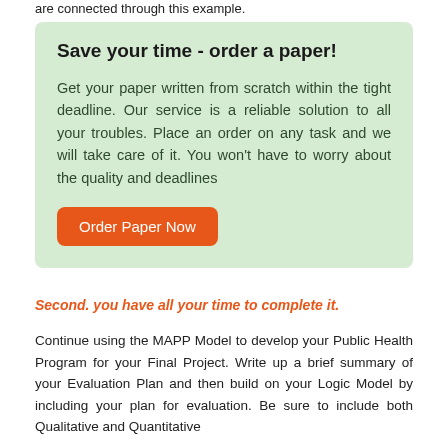are connected through this example.
Save your time - order a paper!

Get your paper written from scratch within the tight deadline. Our service is a reliable solution to all your troubles. Place an order on any task and we will take care of it. You won't have to worry about the quality and deadlines

Order Paper Now
Second. you have all your time to complete it.
Continue using the MAPP Model to develop your Public Health Program for your Final Project. Write up a brief summary of your Evaluation Plan and then build on your Logic Model by including your plan for evaluation. Be sure to include both Qualitative and Quantitative